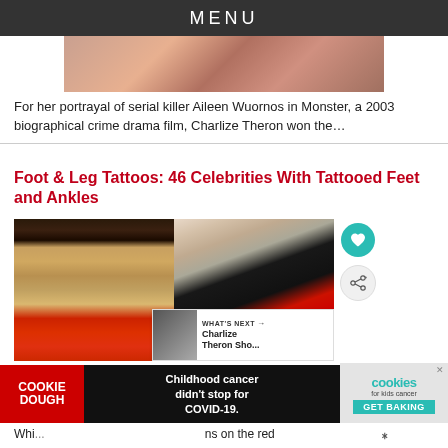MENU
[Figure (photo): Partial view of a person, cropped image at top of article]
For her portrayal of serial killer Aileen Wuornos in Monster, a 2003 biographical crime drama film, Charlize Theron won the…
Foot & Leg Tattoos: 46 Celebrities With Tattooed Feet and Ankles
[Figure (photo): Close-up photo of celebrity feet wearing decorative heeled shoes/sandals on a red carpet, with tattoos visible on ankles]
[Figure (screenshot): What's Next box showing thumbnail and text: Charlize Theron Sho...]
[Figure (infographic): Advertisement banner: Cookie Dough - Childhood cancer didn't stop for COVID-19. Cookies for kids cancer GET BAKING]
Whi... ns on the red